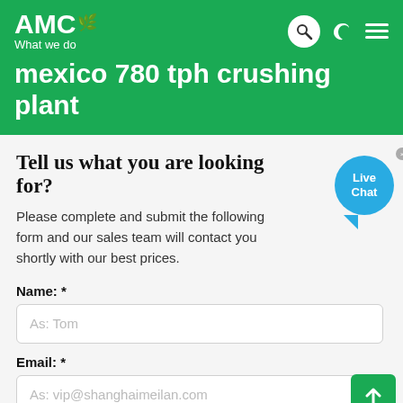AMC What we do
mexico 780 tph crushing plant
Tell us what you are looking for?
Please complete and submit the following form and our sales team will contact you shortly with our best prices.
Name: *
As: Tom
Email: *
As: vip@shanghaimeilan.com
Phone: *
With Country Code